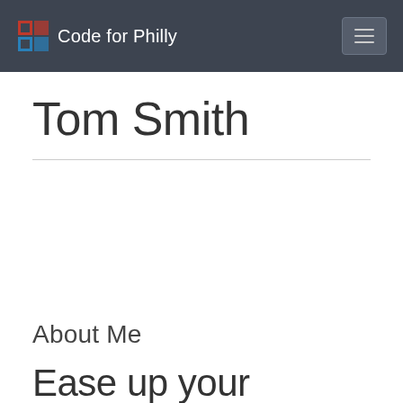Code for Philly
Tom Smith
About Me
Ease up your depression